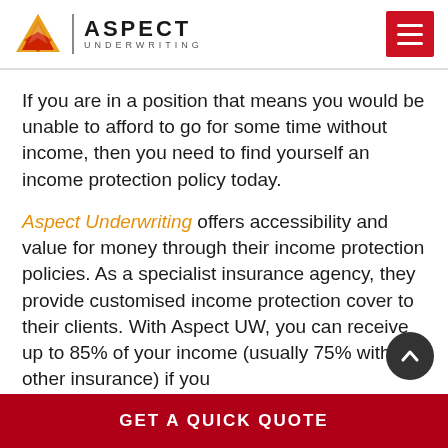Aspect Underwriting
If you are in a position that means you would be unable to afford to go for some time without income, then you need to find yourself an income protection policy today.
Aspect Underwriting offers accessibility and value for money through their income protection policies. As a specialist insurance agency, they provide customised income protection cover to their clients. With Aspect UW, you can receive up to 85% of your income (usually 75% with other insurance) if you
GET A QUICK QUOTE